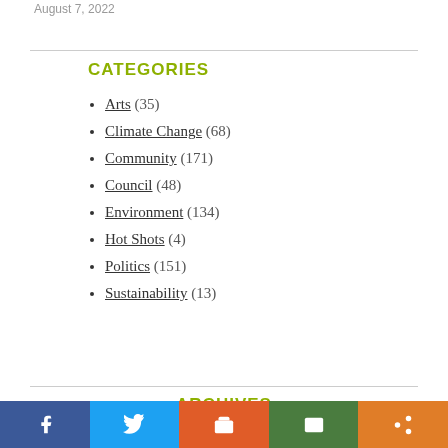August 7, 2022
CATEGORIES
Arts (35)
Climate Change (68)
Community (171)
Council (48)
Environment (134)
Hot Shots (4)
Politics (151)
Sustainability (13)
ARCHIVES